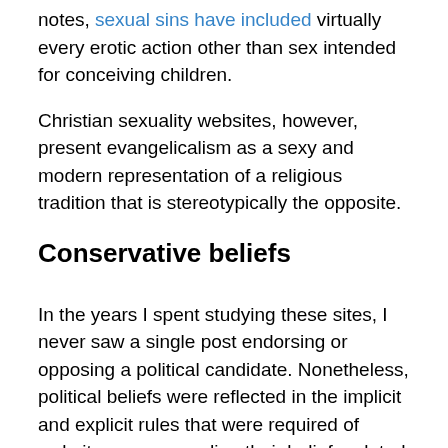notes, sexual sins have included virtually every erotic action other than sex intended for conceiving children.
Christian sexuality websites, however, present evangelicalism as a sexy and modern representation of a religious tradition that is stereotypically the opposite.
Conservative beliefs
In the years I spent studying these sites, I never saw a single post endorsing or opposing a political candidate. Nonetheless, political beliefs were reflected in the implicit and explicit rules that were required of website users regarding their beliefs related to gender, sexuality and marriage.
On one website, for example, a message board where